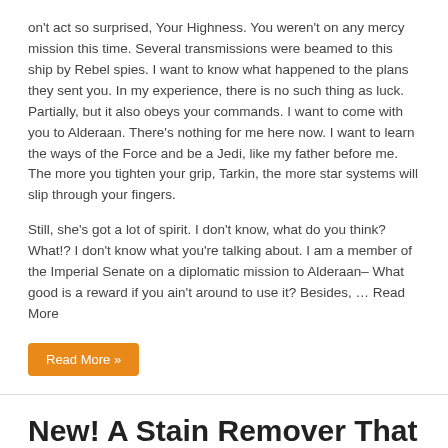on't act so surprised, Your Highness. You weren't on any mercy mission this time. Several transmissions were beamed to this ship by Rebel spies. I want to know what happened to the plans they sent you. In my experience, there is no such thing as luck. Partially, but it also obeys your commands. I want to come with you to Alderaan. There's nothing for me here now. I want to learn the ways of the Force and be a Jedi, like my father before me. The more you tighten your grip, Tarkin, the more star systems will slip through your fingers.
Still, she's got a lot of spirit. I don't know, what do you think? What!? I don't know what you're talking about. I am a member of the Imperial Senate on a diplomatic mission to Alderaan– What good is a reward if you ain't around to use it? Besides, … Read More
Read More »
New! A Stain Remover That Works Like Magic
24/06/2014   Sports   Comments Offon New! A Stain Remover That Works Like Magic